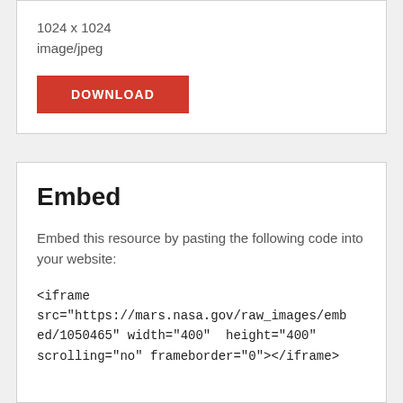1024 x 1024
image/jpeg
DOWNLOAD
Embed
Embed this resource by pasting the following code into your website:
<iframe src="https://mars.nasa.gov/raw_images/embed/1050465" width="400" height="400" scrolling="no" frameborder="0"></iframe>